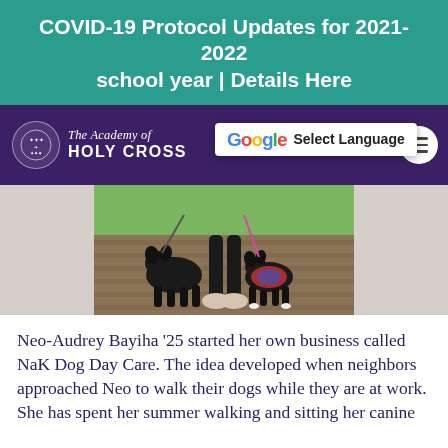COVID-19 Protocol Updates for 2021-2022 school year | Details Here
[Figure (screenshot): The Academy of Holy Cross navigation bar with logo on left, Google Translate widget ('Select Language') in center, COMMUNITY LOGIN and hamburger menu on right, on dark purple background]
[Figure (photo): Two black dogs on a wooden deck being walked on leashes, with a person's legs and feet visible, green grass in background]
Neo-Audrey Bayiha ’25 started her own business called NaK Dog Day Care. The idea developed when neighbors approached Neo to walk their dogs while they are at work. She has spent her summer walking and sitting her canine